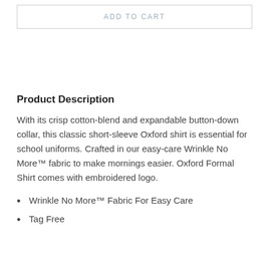ADD TO CART
Product Description
With its crisp cotton-blend and expandable button-down collar, this classic short-sleeve Oxford shirt is essential for school uniforms. Crafted in our easy-care Wrinkle No More™ fabric to make mornings easier. Oxford Formal Shirt comes with embroidered logo.
Wrinkle No More™ Fabric For Easy Care
Tag Free